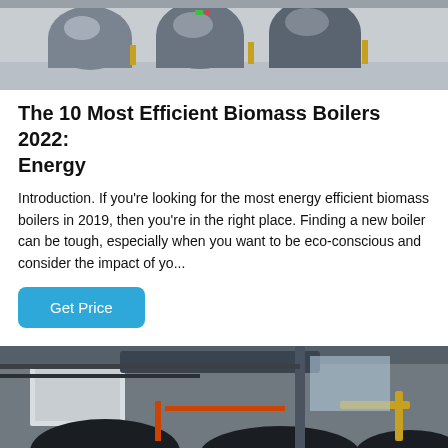[Figure (photo): Industrial biomass boilers in a factory/plant room — grey cylindrical boilers with piping and yellow fittings visible]
The 10 Most Efficient Biomass Boilers 2022: Energy
Introduction. If you're looking for the most energy efficient biomass boilers in 2019, then you're in the right place. Finding a new boiler can be tough, especially when you want to be eco-conscious and consider the impact of yo...
Get Price
[Figure (photo): Industrial boiler equipment viewed from below/interior showing ductwork, black dome-shaped components, and metal framework in a workshop]